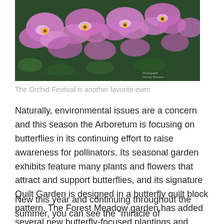[Figure (photo): Close-up photo of pink and purple orchid flowers with yellow and white centers, against a dark green background. A small watermark-like text is visible in the lower right corner of the image.]
The Orchid Festival is another favorite even
Naturally, environmental issues are a concern and this season the Arboretum is focusing on butterflies in its continuing effort to raise awareness for pollinators. Its seasonal garden exhibits feature many plants and flowers that attract and support butterflies, and its signature Quilt Garden is designed in a butterfly quilt block pattern. The Forest Meadow garden has added several new butterfly-focused plantings and includes interpretive signage about butterflies and other pollinators.
New this year and continuing throughout the summer, you can see the “miracle of metamorphosis” in the Baker